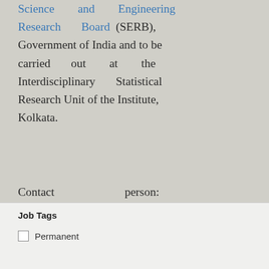Science and Engineering Research Board (SERB), Government of India and to be carried out at the Interdisciplinary Statistical Research Unit of the Institute, Kolkata.
Contact person: Interdisciplinary Statistical Research Unit, (033)-2575-5054
Download Jobs Form
Job Tags
Permanent